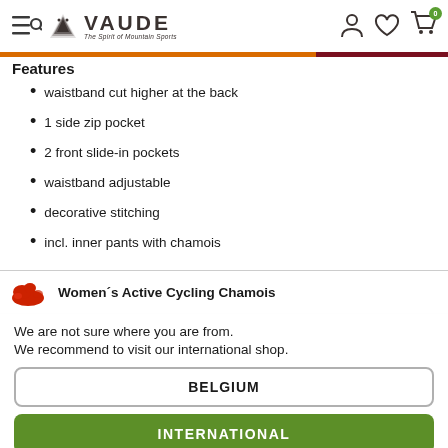VAUDE – The Spirit of Mountain Sports
Features
waistband cut higher at the back
1 side zip pocket
2 front slide-in pockets
waistband adjustable
decorative stitching
incl. inner pants with chamois
Women´s Active Cycling Chamois
We are not sure where you are from. We recommend to visit our international shop.
BELGIUM
INTERNATIONAL